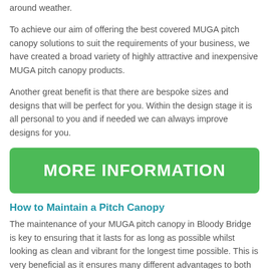around weather.
To achieve our aim of offering the best covered MUGA pitch canopy solutions to suit the requirements of your business, we have created a broad variety of highly attractive and inexpensive MUGA pitch canopy products.
Another great benefit is that there are bespoke sizes and designs that will be perfect for you. Within the design stage it is all personal to you and if needed we can always improve designs for you.
[Figure (other): Green button with white bold text reading MORE INFORMATION]
How to Maintain a Pitch Canopy
The maintenance of your MUGA pitch canopy in Bloody Bridge is key to ensuring that it lasts for as long as possible whilst looking as clean and vibrant for the longest time possible. This is very beneficial as it ensures many different advantages to both the owner of the facility and the players using the facility.